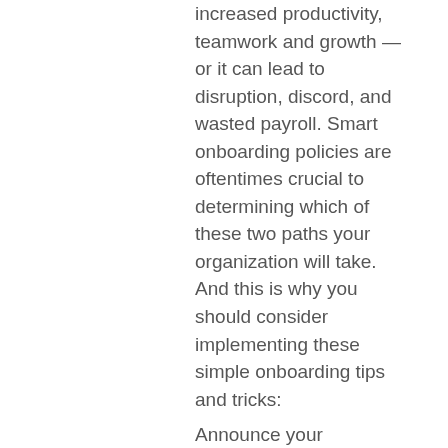increased productivity, teamwork and growth — or it can lead to disruption, discord, and wasted payroll. Smart onboarding policies are oftentimes crucial to determining which of these two paths your organization will take. And this is why you should consider implementing these simple onboarding tips and tricks:
Announce your